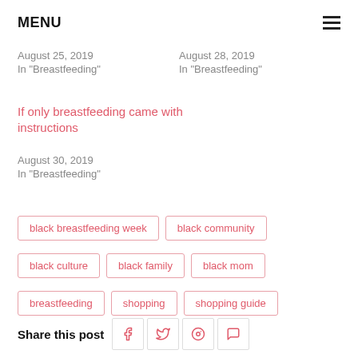MENU
August 25, 2019
In "Breastfeeding"
August 28, 2019
In "Breastfeeding"
If only breastfeeding came with instructions
August 30, 2019
In "Breastfeeding"
black breastfeeding week
black community
black culture
black family
black mom
breastfeeding
shopping
shopping guide
Share this post